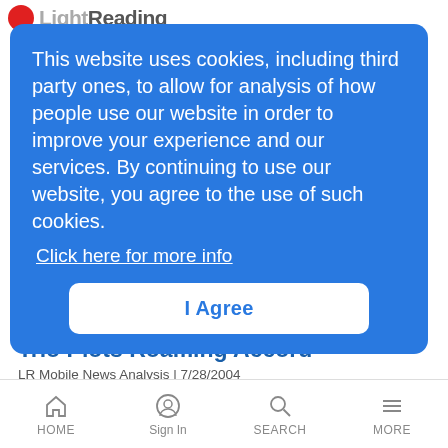Light Reading
This website uses cookies, including third party ones, to allow for analysis of how people use our website in order to improve your experience and our services. By continuing to use our website, you agree to the use of such cookies.
Click here for more info
I Agree
g to stay
That's more like it: JDSU's revenue growth scores with investors, although the restructuring still isn't finished
Trio Plots Roaming Accord
LR Mobile News Analysis | 7/28/2004
Oh joy! Avaya, Proxim, and Motorola plan internetwork roaming spec
HOME  Sign In  SEARCH  MORE